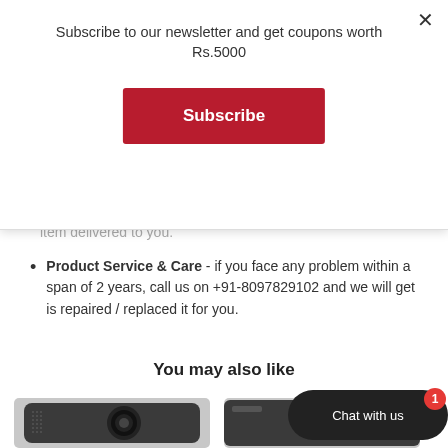Subscribe to our newsletter and get coupons worth Rs.5000
Subscribe
item delivered to you.
Product Service & Care - if you face any problem within a span of 2 years, call us on +91-8097829102 and we will get is repaired / replaced it for you.
You may also like
[Figure (photo): Camera product photo - action camera left]
[Figure (photo): Camera product photo - action camera right]
Chat with us